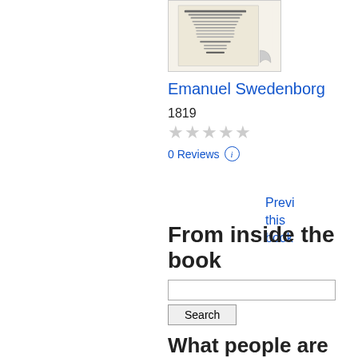[Figure (illustration): Book cover thumbnail for a work by Emanuel Swedenborg, 1819, shown as a small decorative book image with text and a stylized page curl.]
Emanuel Swedenborg
1819
★★★★★ (0 stars rating)
0 Reviews ⓘ
Previ this book
From inside the book
Search
What people are saying - Write a